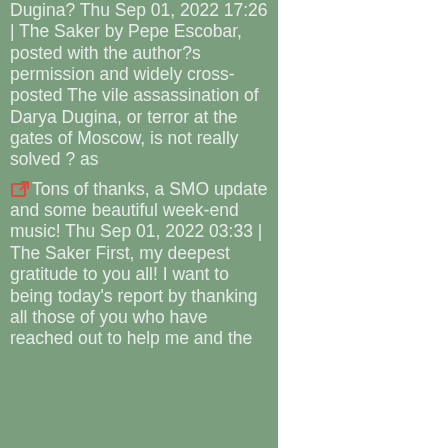Dugina? Thu Sep 01, 2022 17:26 | The Saker by Pepe Escobar, posted with the author?s permission and widely cross-posted The vile assassination of Darya Dugina, or terror at the gates of Moscow, is not really solved ? as
Tons of thanks, a SMO update and some beautiful week-end music! Thu Sep 01, 2022 03:33 | The Saker First, my deepest gratitude to you all! I want to being today's report by thanking all those of you who have reached out to help me and the